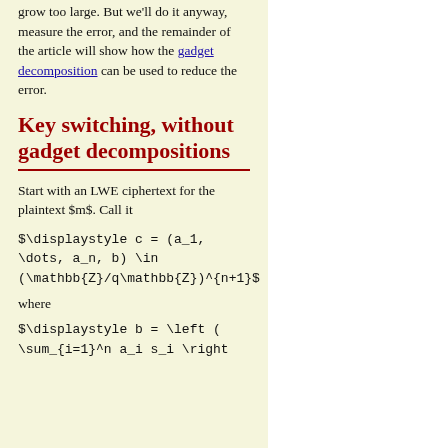grow too large. But we'll do it anyway, measure the error, and the remainder of the article will show how the gadget decomposition can be used to reduce the error.
Key switching, without gadget decompositions
Start with an LWE ciphertext for the plaintext $m$. Call it
where